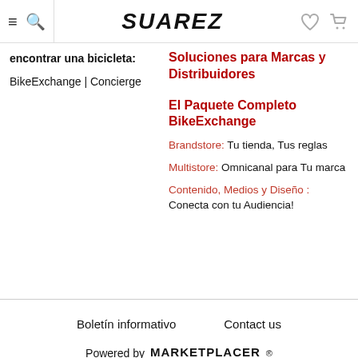SUAREZ
encontrar una bicicleta:
BikeExchange | Concierge
Soluciones para Marcas y Distribuidores
El Paquete Completo BikeExchange
Brandstore: Tu tienda, Tus reglas
Multistore: Omnicanal para Tu marca
Contenido, Medios y Diseño : Conecta con tu Audiencia!
Boletín informativo   Contact us
Powered by MARKETPLACER